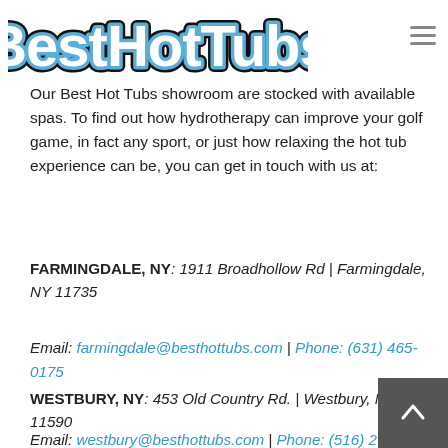[Figure (logo): Best Hot Tubs logo with stylized lettering and blue/dark border effect]
Our Best Hot Tubs showroom are stocked with available spas. To find out how hydrotherapy can improve your golf game, in fact any sport, or just how relaxing the hot tub experience can be, you can get in touch with us at:
FARMINGDALE, NY: 1911 Broadhollow Rd | Farmingdale, NY 11735
Email: farmingdale@besthottubs.com | Phone: (631) 465-0175
WESTBURY, NY: 453 Old Country Rd. | Westbury, NY 11590
Email: westbury@besthottubs.com | Phone: (516) 279-4850